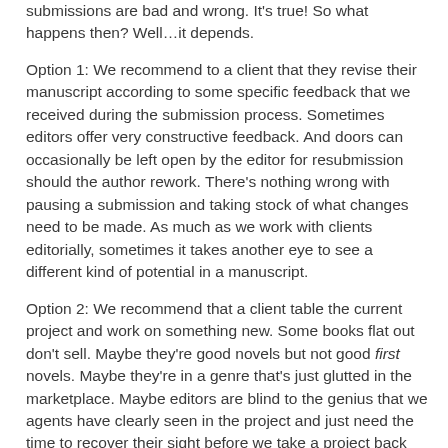submissions are bad and wrong. It's true! So what happens then? Well…it depends.
Option 1: We recommend to a client that they revise their manuscript according to some specific feedback that we received during the submission process. Sometimes editors offer very constructive feedback. And doors can occasionally be left open by the editor for resubmission should the author rework. There's nothing wrong with pausing a submission and taking stock of what changes need to be made. As much as we work with clients editorially, sometimes it takes another eye to see a different kind of potential in a manuscript.
Option 2: We recommend that a client table the current project and work on something new. Some books flat out don't sell. Maybe they're good novels but not good first novels. Maybe they're in a genre that's just glutted in the marketplace. Maybe editors are blind to the genius that we agents have clearly seen in the project and just need the time to recover their sight before we take a project back out at a later date. These things happen. And there's no shame